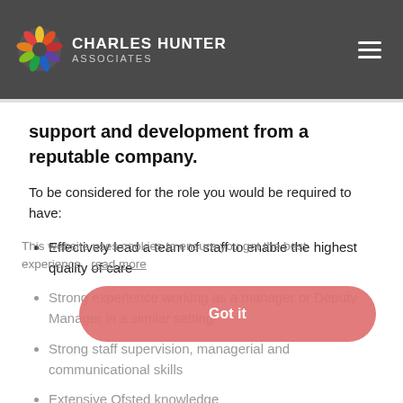CHARLES HUNTER ASSOCIATES
support and development from a reputable company.
To be considered for the role you would be required to have:
Effectively lead a team of staff to enable the highest quality of care
Strong experience working as a manager or Deputy Manager in a similar setting
Strong staff supervision, managerial and communicational skills
Extensive Ofsted knowledge
Diploma Level 5 Leadership and Management
This website uses cookies to ensure you get the best experience. read more
Got it